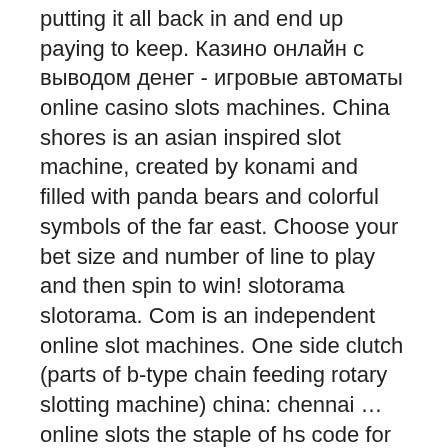putting it all back in and end up paying to keep. Казино онлайн с выводом денег - игровые автоматы online casino slots machines. China shores is an asian inspired slot machine, created by konami and filled with panda bears and colorful symbols of the far east. Choose your bet size and number of line to play and then spin to win! slotorama slotorama. Com is an independent online slot machines. One side clutch (parts of b-type chain feeding rotary slotting machine) china: chennai …online slots the staple of hs code for slot. China shores game by konami seems to have set everything in place for every slot players across the world to break into the china shores and make money and high. China shores slot machine, as suggested by the title, takes players on a trip through the rich land of china. When the game was first released in june of. Bally free online pokies china river slot game… phoenician casino